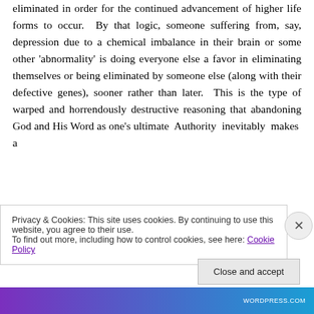eliminated in order for the continued advancement of higher life forms to occur. By that logic, someone suffering from, say, depression due to a chemical imbalance in their brain or some other 'abnormality' is doing everyone else a favor in eliminating themselves or being eliminated by someone else (along with their defective genes), sooner rather than later. This is the type of warped and horrendously destructive reasoning that abandoning God and His Word as one's ultimate Authority inevitably makes a
Privacy & Cookies: This site uses cookies. By continuing to use this website, you agree to their use.
To find out more, including how to control cookies, see here: Cookie Policy
Close and accept